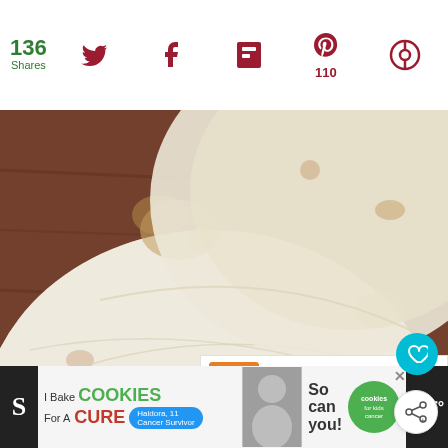136 Shares
[Figure (photo): Close-up photo of a flour tortilla or flatbread with brown spots, placed on a wooden surface]
WHAT'S NEXT → Black Bean Chicken...
[Figure (infographic): Advertisement banner: I Bake COOKIES For A CURE - Haldora, 11 Cancer Survivor - So can you! - cookies for kids cancer]